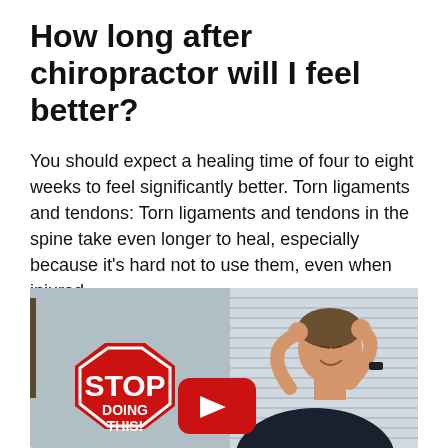How long after chiropractor will I feel better?
You should expect a healing time of four to eight weeks to feel significantly better. Torn ligaments and tendons: Torn ligaments and tendons in the spine take even longer to heal, especially because it's hard not to use them, even when injured.
[Figure (photo): A man stretching his neck/upper back with hands behind head, next to a red octagonal STOP sign reading 'STOP DOING THIS!' with a YouTube-style red play button overlay.]